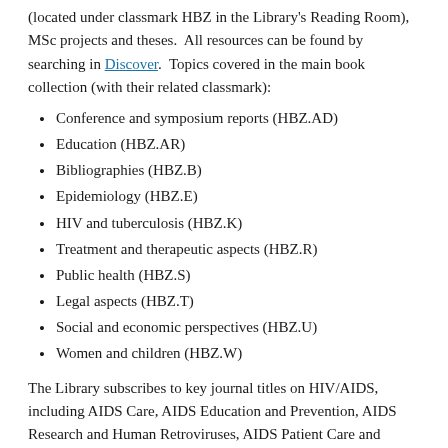(located under classmark HBZ in the Library's Reading Room), MSc projects and theses.  All resources can be found by searching in Discover.  Topics covered in the main book collection (with their related classmark):
Conference and symposium reports (HBZ.AD)
Education (HBZ.AR)
Bibliographies (HBZ.B)
Epidemiology (HBZ.E)
HIV and tuberculosis (HBZ.K)
Treatment and therapeutic aspects (HBZ.R)
Public health (HBZ.S)
Legal aspects (HBZ.T)
Social and economic perspectives (HBZ.U)
Women and children (HBZ.W)
The Library subscribes to key journal titles on HIV/AIDS, including AIDS Care, AIDS Education and Prevention, AIDS Research and Human Retroviruses, AIDS Patient Care and STDs, International Journal of STD and AIDS...